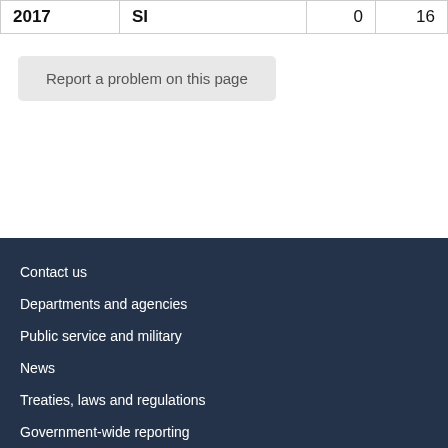| 2017 | SI | 0 | 16 |
Report a problem on this page
Contact us
Departments and agencies
Public service and military
News
Treaties, laws and regulations
Government-wide reporting